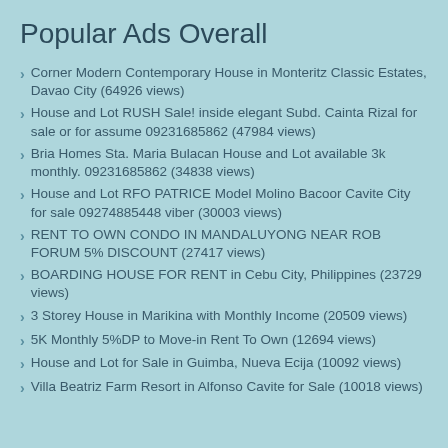Popular Ads Overall
Corner Modern Contemporary House in Monteritz Classic Estates, Davao City (64926 views)
House and Lot RUSH Sale! inside elegant Subd. Cainta Rizal for sale or for assume 09231685862 (47984 views)
Bria Homes Sta. Maria Bulacan House and Lot available 3k monthly. 09231685862 (34838 views)
House and Lot RFO PATRICE Model Molino Bacoor Cavite City for sale 09274885448 viber (30003 views)
RENT TO OWN CONDO IN MANDALUYONG NEAR ROB FORUM 5% DISCOUNT (27417 views)
BOARDING HOUSE FOR RENT in Cebu City, Philippines (23729 views)
3 Storey House in Marikina with Monthly Income (20509 views)
5K Monthly 5%DP to Move-in Rent To Own (12694 views)
House and Lot for Sale in Guimba, Nueva Ecija (10092 views)
Villa Beatriz Farm Resort in Alfonso Cavite for Sale (10018 views)